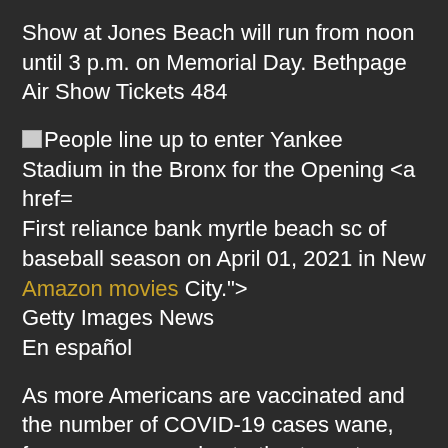Show at Jones Beach will run from noon until 3 p.m. on Memorial Day. Bethpage Air Show Tickets 484
[img] People line up to enter Yankee Stadium in the Bronx for the Opening <a href= First reliance bank myrtle beach sc of baseball season on April 01, 2021 in New Amazon movies City."> Getty Images News En español
As more Americans are vaccinated and the number of COVID-19 cases wane, fans are once again starting to go to sports events and concerts. All 30 National Football League (NFL) stadiums have gotten the go-ahead to operate at full capacity, and many National Basketball Association (NBA) arenas can too.